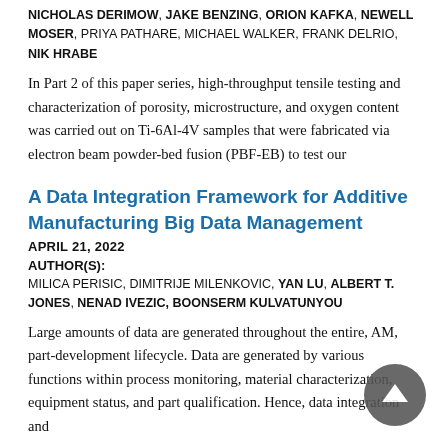NICHOLAS DERIMOW, JAKE BENZING, ORION KAFKA, NEWELL MOSER, PRIYA PATHARE, MICHAEL WALKER, FRANK DELRIO, NIK HRABE
In Part 2 of this paper series, high-throughput tensile testing and characterization of porosity, microstructure, and oxygen content was carried out on Ti-6Al-4V samples that were fabricated via electron beam powder-bed fusion (PBF-EB) to test our
A Data Integration Framework for Additive Manufacturing Big Data Management
APRIL 21, 2022
AUTHOR(S):
MILICA PERISIC, DIMITRIJE MILENKOVIC, YAN LU, ALBERT T. JONES, NENAD IVEZIC, BOONSERM KULVATUNYOU
Large amounts of data are generated throughout the entire, AM, part-development lifecycle. Data are generated by various functions within process monitoring, material characterization, equipment status, and part qualification. Hence, data integration and